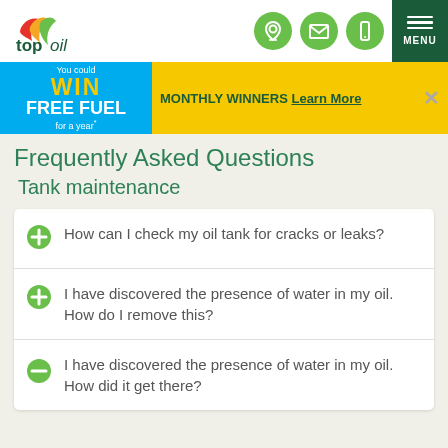top oil — navigation header with logo, icons, and MENU
[Figure (infographic): Banner: You could WIN FREE FUEL for a year* — MONTHLY WINNERS Learn More]
Frequently Asked Questions
Tank maintenance
How can I check my oil tank for cracks or leaks?
I have discovered the presence of water in my oil. How do I remove this?
I have discovered the presence of water in my oil. How did it get there?